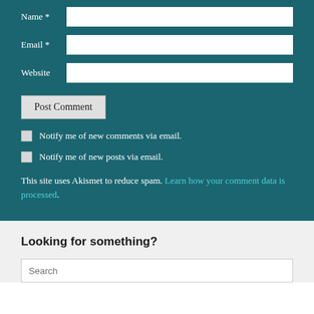Name *
Email *
Website
Post Comment
Notify me of new comments via email.
Notify me of new posts via email.
This site uses Akismet to reduce spam. Learn how your comment data is processed.
Looking for something?
Search